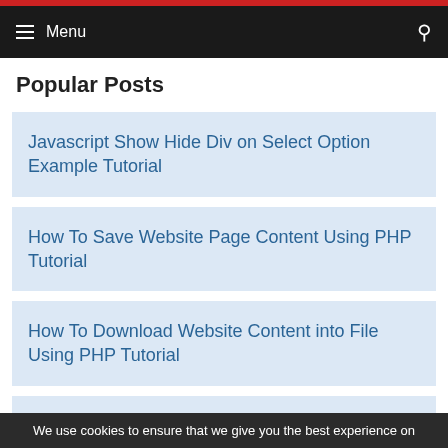Menu
Popular Posts
Javascript Show Hide Div on Select Option Example Tutorial
How To Save Website Page Content Using PHP Tutorial
How To Download Website Content into File Using PHP Tutorial
We use cookies to ensure that we give you the best experience on